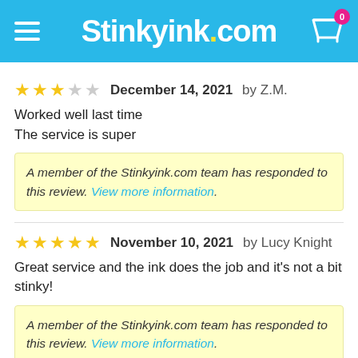Stinkyink.com
December 14, 2021  by Z.M.
Worked well last time
The service is super
A member of the Stinkyink.com team has responded to this review. View more information.
November 10, 2021  by Lucy Knight
Great service and the ink does the job and it's not a bit stinky!
A member of the Stinkyink.com team has responded to this review. View more information.